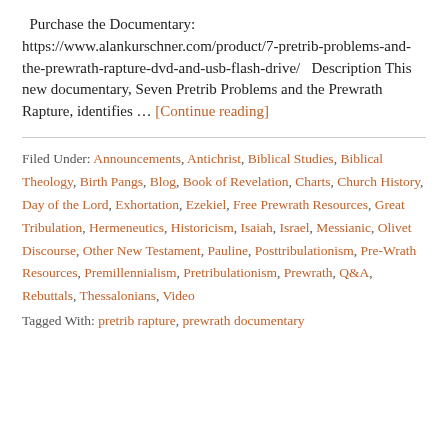Purchase the Documentary: https://www.alankurschner.com/product/7-pretrib-problems-and-the-prewrath-rapture-dvd-and-usb-flash-drive/   Description This new documentary, Seven Pretrib Problems and the Prewrath Rapture, identifies … [Continue reading]
Filed Under: Announcements, Antichrist, Biblical Studies, Biblical Theology, Birth Pangs, Blog, Book of Revelation, Charts, Church History, Day of the Lord, Exhortation, Ezekiel, Free Prewrath Resources, Great Tribulation, Hermeneutics, Historicism, Isaiah, Israel, Messianic, Olivet Discourse, Other New Testament, Pauline, Posttribulationism, Pre-Wrath Resources, Premillennialism, Pretribulationism, Prewrath, Q&A, Rebuttals, Thessalonians, Video
Tagged With: pretrib rapture, prewrath documentary